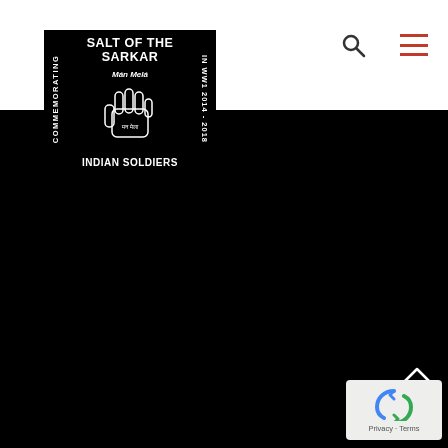[Figure (logo): Salt of the Sarkar logo — black square with white text 'SALT OF THE SARKAR' at top, 'Mán Melá' subtitle, hand illustration in center, 'INDIAN SOLDIERS' at bottom, 'COMMEMORATING' rotated on left side, 'IN WW1 2014 – 2018' rotated on right side]
[Figure (other): Search icon (magnifying glass) in header]
[Figure (other): Hamburger menu icon with red lines in header]
[Figure (other): Up arrow chevron at bottom right over black background]
[Figure (other): Google reCAPTCHA widget at bottom right — grey box with reCAPTCHA logo and 'Privacy · Terms' text]